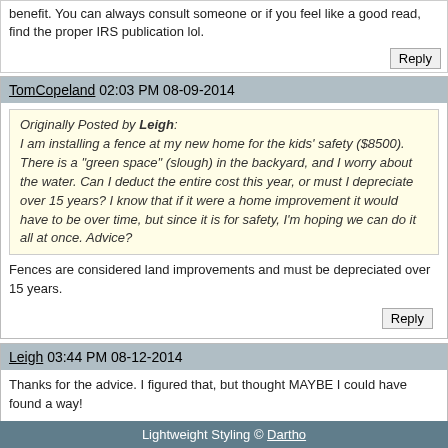benefit. You can always consult someone or if you feel like a good read, find the proper IRS publication lol.
Reply
TomCopeland 02:03 PM 08-09-2014
Originally Posted by Leigh: I am installing a fence at my new home for the kids' safety ($8500). There is a "green space" (slough) in the backyard, and I worry about the water. Can I deduct the entire cost this year, or must I depreciate over 15 years? I know that if it were a home improvement it would have to be over time, but since it is for safety, I'm hoping we can do it all at once. Advice?
Fences are considered land improvements and must be depreciated over 15 years.
Reply
Leigh 03:44 PM 08-12-2014
Thanks for the advice. I figured that, but thought MAYBE I could have found a way!
Reply
Tags: deduction - fence, deduction - landscape, deduction - security, fence
Reply  Up
Lightweight Styling © Dartho